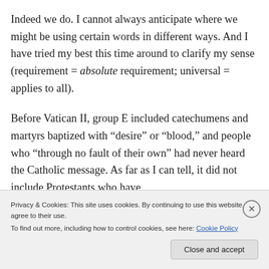Indeed we do. I cannot always anticipate where we might be using certain words in different ways. And I have tried my best this time around to clarify my sense (requirement = absolute requirement; universal = applies to all).
Before Vatican II, group E included catechumens and martyrs baptized with “desire” or “blood,” and people who “through no fault of their own” had never heard the Catholic message. As far as I can tell, it did not include Protestants who have
Privacy & Cookies: This site uses cookies. By continuing to use this website, you agree to their use.
To find out more, including how to control cookies, see here: Cookie Policy
Close and accept